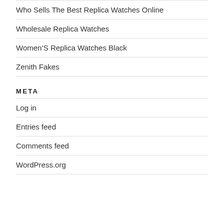Who Sells The Best Replica Watches Online
Wholesale Replica Watches
Women'S Replica Watches Black
Zenith Fakes
META
Log in
Entries feed
Comments feed
WordPress.org